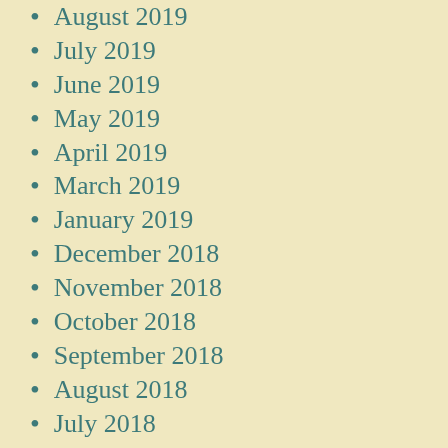August 2019
July 2019
June 2019
May 2019
April 2019
March 2019
January 2019
December 2018
November 2018
October 2018
September 2018
August 2018
July 2018
June 2018
May 2018
April 2018
March 2018